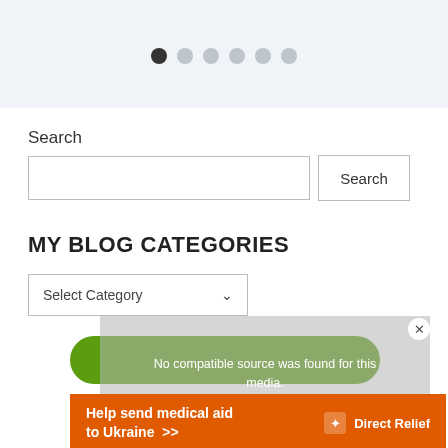[Figure (other): Carousel pagination dots — 6 dots, first one filled dark, rest light gray]
Search
[Figure (screenshot): Search input field with Search button]
MY BLOG CATEGORIES
[Figure (screenshot): Select Category dropdown]
[Figure (screenshot): Green rounded button partially visible]
[Figure (screenshot): Video overlay with text: No compatible source was found for this media. How To Retire Early With... and close button]
[Figure (screenshot): Orange ad banner: Help send medical aid to Ukraine >> with DirectRelief logo]